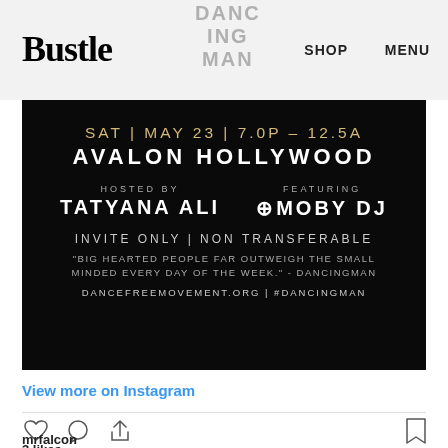Bustle | DANCING MAN | SHOP | MENU
[Figure (photo): Event flyer on black background: SAT | MAY 23 | 7.0P – 12.5A / AVALON HOLLYWOOD / HOSTED BY TATYANA ALI / FEATURING MOBY DJ / INVITE ONLY | NON TRANSFERABLE / quote and website]
View more on Instagram
3 likes
mrfalcon